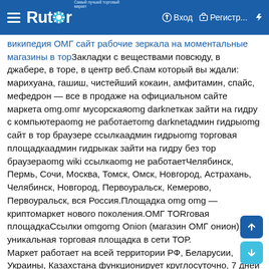Rutor — Вход Регистр...
википедия ОМГ сайт рабочие зеркала на моментальные магазины в торЗакладки с веществами повсюду, в джабере, в торе, в центр веб.Спам который вы ждали: марихуана, гашиш, чистейший кокаин, амфитамин, спайс, мефедрон — все в продаже на официальном сайте маркета omg.omг мусорскаяomg darkneткак зайти на гидру с компьютераomg не работаетomg darknetадмин гидрыomg сайт в тор браузере ссылкаадмин гидрыomg торговая площадкаадмин гидрыкак зайти на гидру без тор браузераomg wiki ссылкаomg не работаетЧелябинск, Пермь, Сочи, Москва, Томск, Омск, Новгород, Астрахань, Челябинск, Новгород, Первоуральск, Кемерово, Первоуральск, вся Россия.Площадка omg omg — криптомаркет нового поколения.ОМГ TORговая площадкаСсылки omgomg Onion (магазин ОМГ онион) — уникальная торговая площадка в сети ТОР.
Маркет работает на всей территории РФ, Беларусии, Украины, Казахстана функционирует круглосуточно, 7 дней в неделю, постоянная онлайн поддержка, авто-гарант, автоматические продажи с оплатой через киви или биткоин